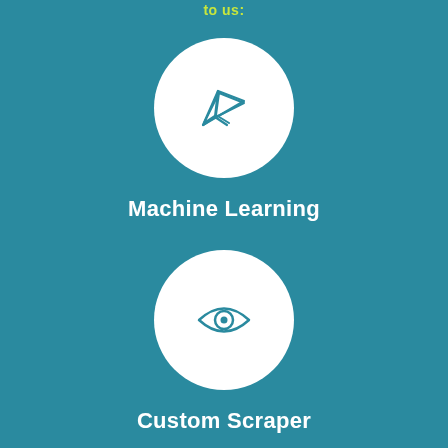to us:
[Figure (illustration): White circle with a paper airplane / send icon in teal color]
Machine Learning
[Figure (illustration): White circle with an eye icon in teal color]
Custom Scraper